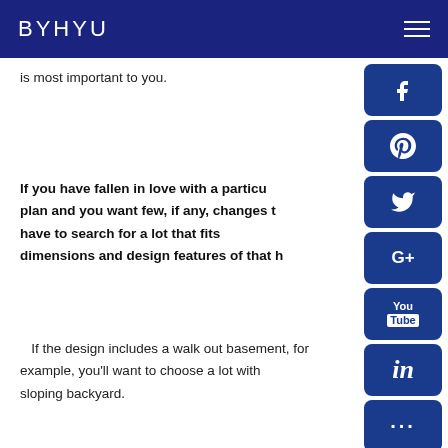BYHYU
is most important to you.
If you have fallen in love with a particular plan and you want few, if any, changes to have to search for a lot that fits the dimensions and design features of that home.
If the design includes a walk out basement, for example, you'll want to choose a lot with a sloping backyard.
[Figure (infographic): Social media share buttons sidebar: Facebook (f), Pinterest (P), Twitter bird, Google+, YouTube, LinkedIn (in), more (...)]